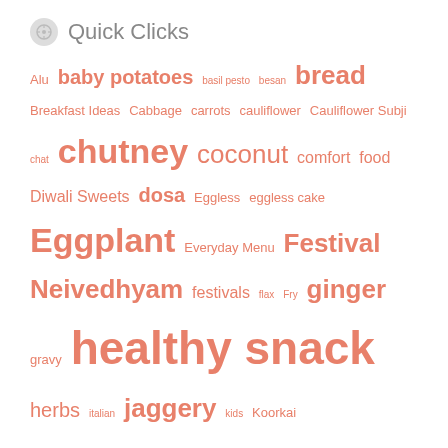Quick Clicks
Alu baby potatoes basil pesto besan bread Breakfast Ideas Cabbage carrots cauliflower Cauliflower Subji chat chutney coconut comfort food Diwali Sweets dosa Eggless eggless cake Eggplant Everyday Menu Festival Neivedhyam festivals flax Fry ginger gravy healthy snack herbs italian jaggery kids Koorkai Kozhukattai. kuzhambu lemon Maavadu Methi Mushrooms Musings Navarathri Neivedhyam nombu adai onion onions pasta pepper Potatoes pulav. quick fix rasam Rasam Varieties rice sticks Rice Varieties. roast rolls sambar sevai side for pongal significance snack snacks Snacks & Tiffin Items Sno-cones Spinach steamed dumplings subzi tamarind